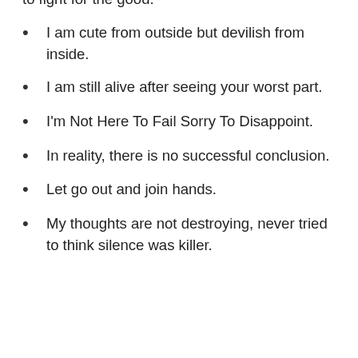to fight for the good.
I am cute from outside but devilish from inside.
I am still alive after seeing your worst part.
I'm Not Here To Fail Sorry To Disappoint.
In reality, there is no successful conclusion.
Let go out and join hands.
My thoughts are not destroying, never tried to think silence was killer.